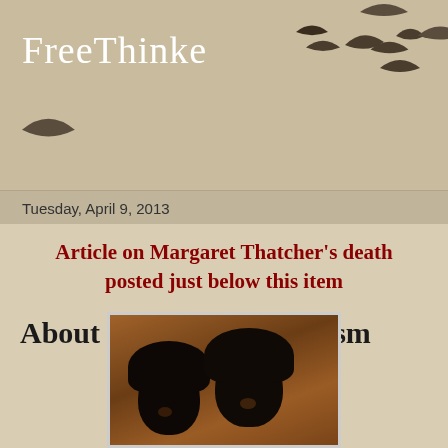FreeThinke
Tuesday, April 9, 2013
Article on Margaret Thatcher's death posted just below this item
About My Imputed Racism
[Figure (photo): Painting or old photograph showing two dark figures/faces with afro hairstyles against a warm brown background, in a white-bordered frame]